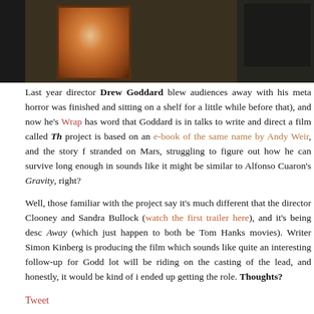[Figure (photo): Top banner image showing a reddish-brown Mars surface texture/photo and a dark-suited person on the right side]
Last year director Drew Goddard blew audiences away with his meta horror was finished and sitting on a shelf for a little while before that), and now he's Wrap has word that Goddard is in talks to write and direct a film called Th project is based on an e-book of the same name by Andy Weir, and the story f stranded on Mars, struggling to figure out how he can survive long enough in sounds like it might be similar to Alfonso Cuaron's Gravity, right?
Well, those familiar with the project say it's much different that the director Clooney and Sandra Bullock (watch the first trailer here), and it's being desc Away (which just happen to both be Tom Hanks movies). Writer Simon Kinberg is producing the film which sounds like quite an interesting follow-up for Godd lot will be riding on the casting of the lead, and honestly, it would be kind of i ended up getting the role. Thoughts?
Tweet
Find more posts: Development, Movie News
7 Comments
E-Book deal money!